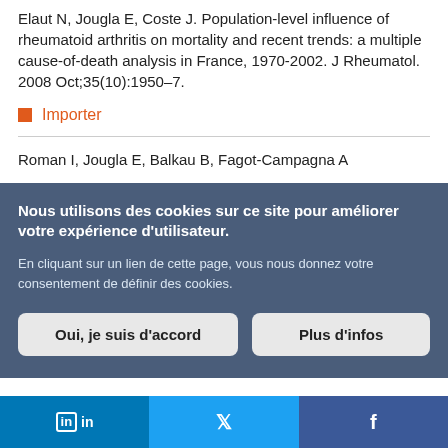Elaut N, Jougla E, Coste J. Population-level influence of rheumatoid arthritis on mortality and recent trends: a multiple cause-of-death analysis in France, 1970-2002. J Rheumatol. 2008 Oct;35(10):1950–7.
Importer
Roman I, Jougla E, Balkau B, Fagot-Campagna A
[Figure (screenshot): Cookie consent overlay in French on dark blue-grey background with two buttons: 'Oui, je suis d'accord' and 'Plus d'infos']
[Figure (infographic): Social media share bar with LinkedIn, Twitter, and Facebook buttons]